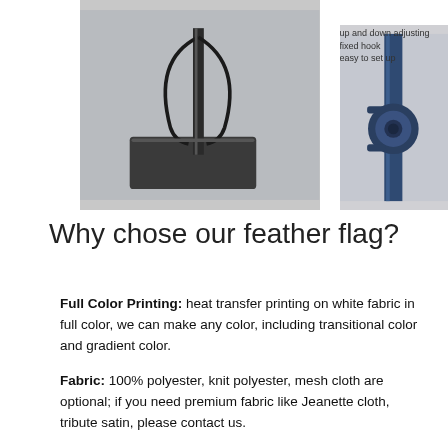[Figure (photo): Photo of a flag base/stand on a flat surface, showing a square black base plate with a pole inserted through it and a cable/strap attached. Gray background.]
[Figure (photo): Close-up photo of a blue metal pole with an adjustable clamp/hook mechanism, with text annotations: 'up and down adjusting fixed hook easy to set up'. Dark blue metallic finish.]
Why chose our feather flag?
Full Color Printing: heat transfer printing on white fabric in full color, we can make any color, including transitional color and gradient color.
Fabric: 100% polyester, knit polyester, mesh cloth are optional; if you need premium fabric like Jeanette cloth, tribute satin, please contact us.
Single sided: print your graphics on front side of the flag, colors will reverse into the back side and show a mirror image on the back. Graphics can be seen on both sides.